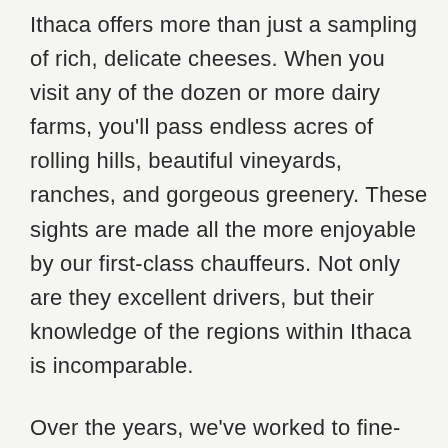Ithaca offers more than just a sampling of rich, delicate cheeses. When you visit any of the dozen or more dairy farms, you'll pass endless acres of rolling hills, beautiful vineyards, ranches, and gorgeous greenery. These sights are made all the more enjoyable by our first-class chauffeurs. Not only are they excellent drivers, but their knowledge of the regions within Ithaca is incomparable.
Over the years, we've worked to fine-tune our services—for our clients, yes, but also for the betterment of the landscapes we drive through and the planet itself.
In an effort to help preserve the beautiful land